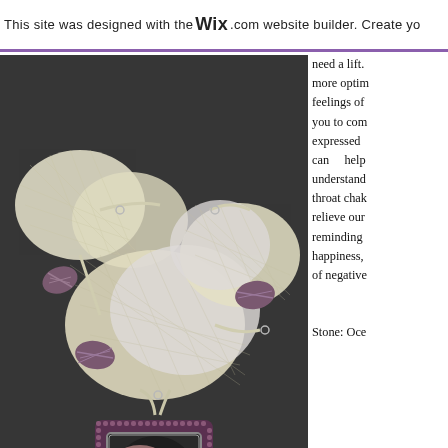This site was designed with the WIX.com website builder. Create yo
[Figure (photo): A handmade jewelry necklace with lacy mesh silver/cream wavy panels connected with purple/mauve striped oval beads, and a square beaded pendant in the center featuring an ocean jasper stone with pink and dark tones, surrounded by small purple seed beads, on a dark gray background.]
need a lift. more optim feelings of you to com expressed can help understand throat chak relieve our reminding happiness, of negative
Stone: Oce
Let's Chat